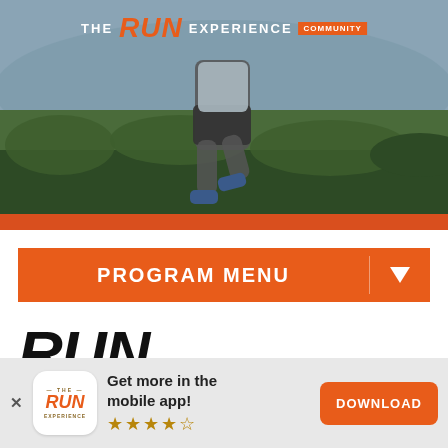[Figure (photo): Hero banner showing a trail runner in motion on a grassy hillside with misty mountains in background. The Run Experience Community logo at top center. Orange bar at bottom of image.]
PROGRAM MENU
RUN
Get more in the mobile app!
[Figure (logo): The Run Experience app icon — white rounded square with orange RUN text and brown THE / EXPERIENCE text]
DOWNLOAD